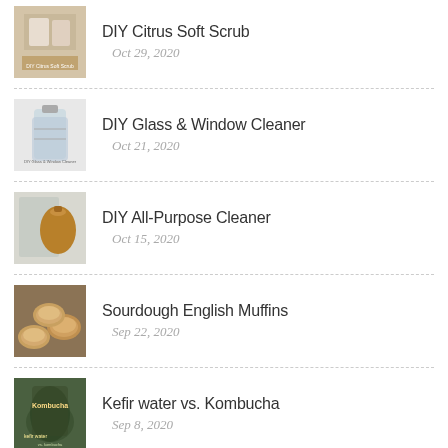DIY Citrus Soft Scrub
Oct 29, 2020
DIY Glass & Window Cleaner
Oct 21, 2020
DIY All-Purpose Cleaner
Oct 15, 2020
Sourdough English Muffins
Sep 22, 2020
Kefir water vs. Kombucha
Sep 8, 2020
(partial item)